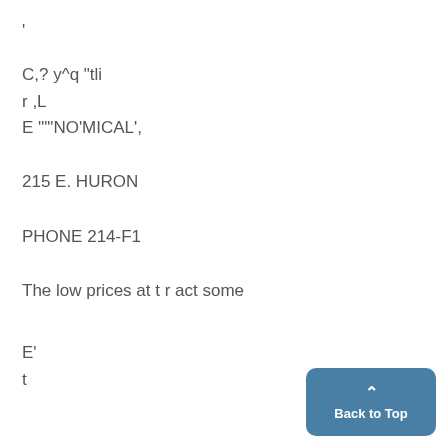'
C,? y^q "tli
r ,L
E '""NO'MICAL',
215 E. HURON
PHONE 214-F1
The low prices at t r act some
E'
t